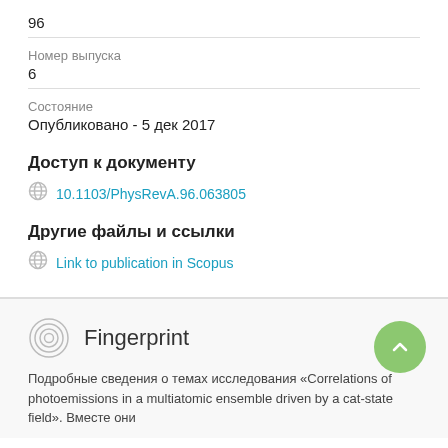96
Номер выпуска
6
Состояние
Опубликовано - 5 дек 2017
Доступ к документу
10.1103/PhysRevA.96.063805
Другие файлы и ссылки
Link to publication in Scopus
Fingerprint
Подробные сведения о темах исследования «Correlations of photoemissions in a multiatomic ensemble driven by a cat-state field». Вместе они